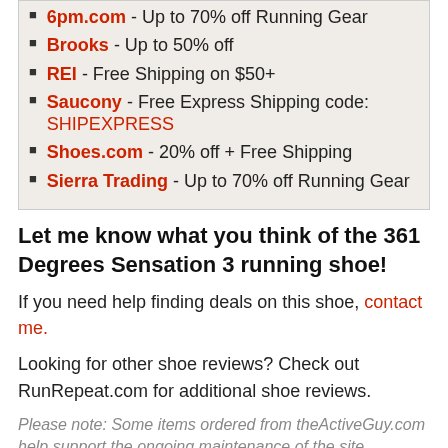6pm.com - Up to 70% off Running Gear
Brooks - Up to 50% off
REI - Free Shipping on $50+
Saucony - Free Express Shipping code: SHIPEXPRESS
Shoes.com - 20% off + Free Shipping
Sierra Trading - Up to 70% off Running Gear
Let me know what you think of the 361 Degrees Sensation 3 running shoe!
If you need help finding deals on this shoe, contact me.
Looking for other shoe reviews? Check out RunRepeat.com for additional shoe reviews.
Please note: Some items ordered from theActiveGuy.com help support the ongoing maintenance of the site.